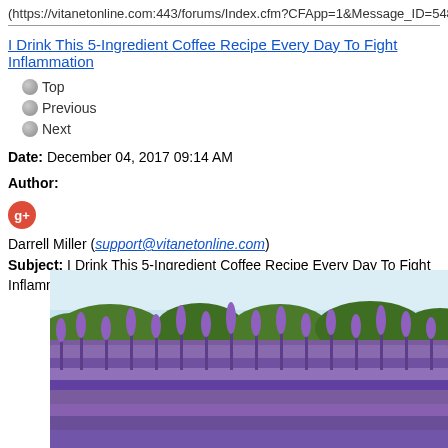(https://vitanetonline.com:443/forums/Index.cfm?CFApp=1&Message_ID=548
I Drink This 5-Ingredient Coffee Recipe Every Day To Fight Inflammation
Top
Previous
Next
Date: December 04, 2017 09:14 AM
Author:
Darrell Miller (support@vitanetonline.com)
Subject: I Drink This 5-Ingredient Coffee Recipe Every Day To Fight Inflamma
[Figure (photo): A lavender field in bloom with purple flowers in the foreground and green trees in the background under a light blue sky.]